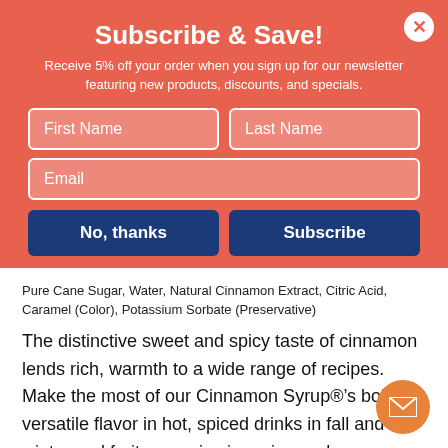Subscribe & Save!
Receive 5% off your order when you sign up for our newsletter featuring new products, discounts, and specials.
First Name
Last Name
Email
No, thanks
Subscribe
Pure Cane Sugar, Water, Natural Cinnamon Extract, Citric Acid, Caramel (Color), Potassium Sorbate (Preservative)
The distinctive sweet and spicy taste of cinnamon lends rich, warmth to a wide range of recipes. Make the most of our Cinnamon Syrup®’s bold, versatile flavor in hot, spiced drinks in fall and winter and fruity sangrias in spring and summer. Monin Cinnamon Syrup mixes the bold taste of cinnamon into coffees, cocoas, ciders and cocktails